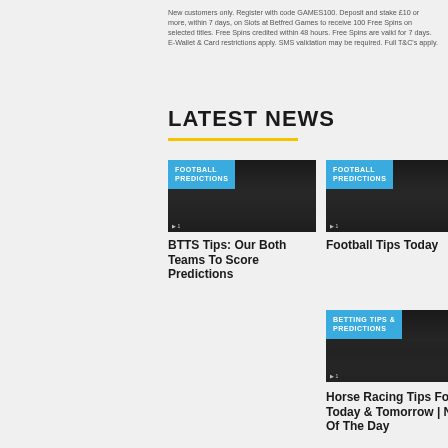New customers only. Register with code GAMES100. Deposit and stake £10 or more, within 7 days, on Slots at Betfred Games to receive 100 Free Spins on selected titles. Free Spins credited within 48 hours. Free Spins are valid for 7 days. E-Wallet & Card restrictions apply. SMS validation may be required. Full T&Cs apply.
LATEST NEWS
[Figure (photo): Football Predictions card image with blue badge labeled FOOTBALL PREDICTIONS]
BTTS Tips: Our Both Teams To Score Predictions
[Figure (photo): Football Predictions card image with blue badge labeled FOOTBALL PREDICTIONS]
Football Tips Today
[Figure (photo): Betting Tips & Predictions card image with blue badge labeled BETTING TIPS & PREDICTIONS]
Horse Racing Tips For Today & Tomorrow | NAP Of The Day